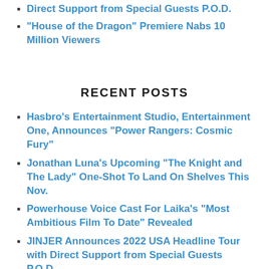Direct Support from Special Guests P.O.D.
“House of the Dragon” Premiere Nabs 10 Million Viewers
RECENT POSTS
Hasbro’s Entertainment Studio, Entertainment One, Announces “Power Rangers: Cosmic Fury”
Jonathan Luna’s Upcoming “The Knight and The Lady” One-Shot To Land On Shelves This Nov.
Powerhouse Voice Cast For Laika’s “Most Ambitious Film To Date” Revealed
JINJER Announces 2022 USA Headline Tour with Direct Support from Special Guests P.O.D.
CMT EXCLUSIVES
[Figure (photo): Two photos side by side showing entertainment/media related images]